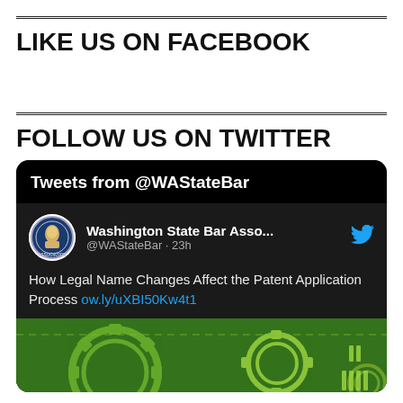LIKE US ON FACEBOOK
FOLLOW US ON TWITTER
[Figure (screenshot): Twitter widget showing 'Tweets from @WAStateBar' with a tweet from Washington State Bar Association (@WAStateBar · 23h): 'How Legal Name Changes Affect the Patent Application Process ow.ly/uXBI50Kw4t1' with a green gear/patent image below.]